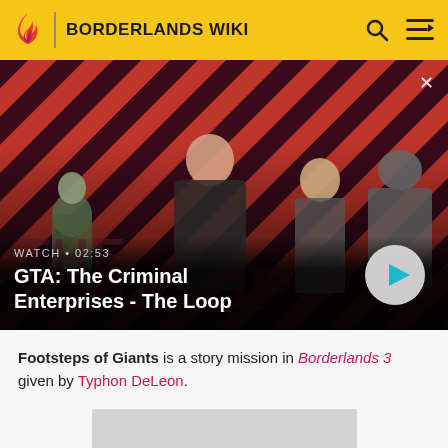BORDERLANDS WIKI
[Figure (screenshot): GTA: The Criminal Enterprises - The Loop video banner showing four game characters against a red and dark diagonal striped background. Overlay text: WATCH • 02:53, GTA: The Criminal Enterprises - The Loop. Play button on right.]
Footsteps of Giants is a story mission in Borderlands 3 given by Typhon DeLeon.
[Figure (other): Advertisement placeholder (gray box)]